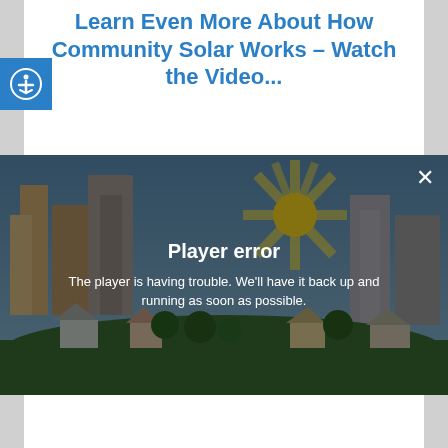Learn Even More About How Community Solar Works – Watch the Video...
[Figure (screenshot): Video player showing a cartoon city skyline with a sun illustration. An error overlay reads 'Player error' with message 'The player is having trouble. We'll have it back up and running as soon as possible.' A close (X) button appears in the top right corner.]